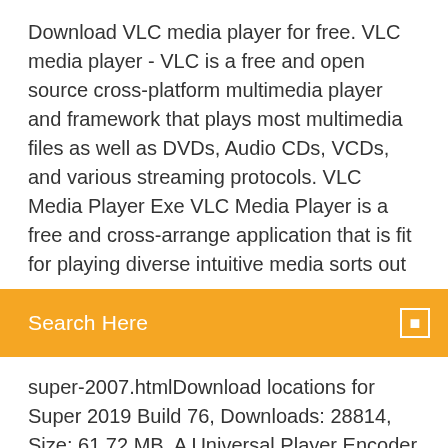Download VLC media player for free. VLC media player - VLC is a free and open source cross-platform multimedia player and framework that plays most multimedia files as well as DVDs, Audio CDs, VCDs, and various streaming protocols. VLC Media Player Exe VLC Media Player is a free and cross-arrange application that is fit for playing diverse intuitive media sorts out
[Figure (screenshot): Orange search bar with text 'Search Here' in white and a small square search icon on the right]
super-2007.htmlDownload locations for Super 2019 Build 76, Downloads: 28814, Size: 61.72 MB. A Universal Player Encoder & Renderer. FF Plugin-x32: @intel-webapi.intel.com/Intel Webapi ipt;version=4.0.5 -> C:\Program Files (x86)\Intel\Intel(R) Management Engine Components\IPT\npIntelWebAPIIPT.dll [2013-12-10] (Intel Identity Protection Technology Software -> Intel... Stáhnout soubor download exe z eDisku Download TunesGo for PC for Windows PC from FileHorse. 100% Safe and Secure Free Download (32-bit/64-bit) Latest Version 2019.